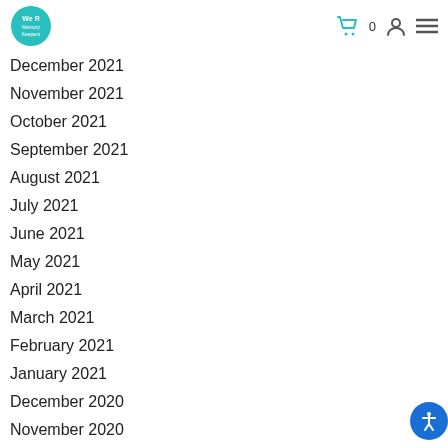We R Memory Keepers logo, cart 0, user icon, menu
December 2021
November 2021
October 2021
September 2021
August 2021
July 2021
June 2021
May 2021
April 2021
March 2021
February 2021
January 2021
December 2020
November 2020